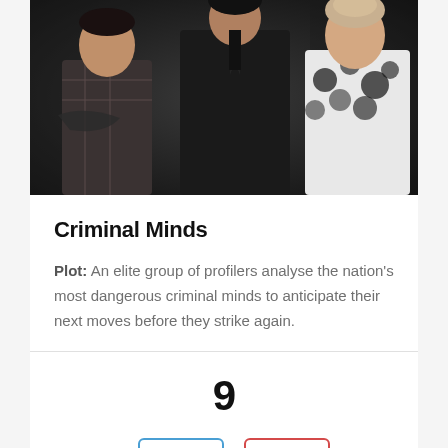[Figure (photo): Group photo of Criminal Minds cast members against dark background, showing three people — a man on left with arms crossed, a tall figure in center wearing dark jacket, and a woman on right in patterned top]
Criminal Minds
Plot: An elite group of profilers analyse the nation's most dangerous criminal minds to anticipate their next moves before they strike again.
9
[Figure (other): Up arrow button (blue border) and down arrow button (red border) displayed side by side]